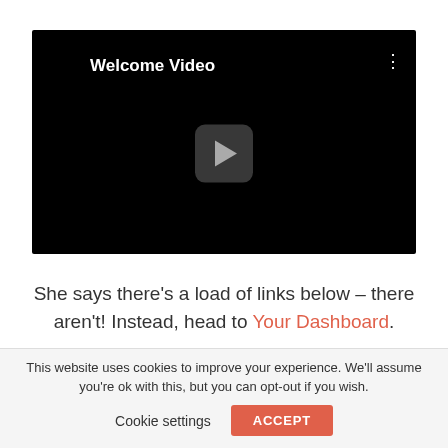[Figure (screenshot): Video player with black background showing 'Welcome Video' title, three-dot menu icon, and a play button in the center]
She says there's a load of links below – there aren't! Instead, head to Your Dashboard.
This website uses cookies to improve your experience. We'll assume you're ok with this, but you can opt-out if you wish.